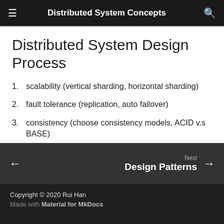Distributed System Concepts
Distributed System Design Process
scalability (vertical sharding, horizontal sharding)
fault tolerance (replication, auto failover)
consistency (choose consistency models, ACID v.s BASE)
performance (distributed cache system)
Next Design Patterns
Copyright © 2020 Rui Han
Made with Material for MkDocs